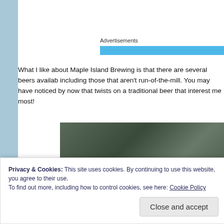Advertisements
What I like about Maple Island Brewing is that there are several beers available, including those that aren't run-of-the-mill. You may have noticed by now that twists on a traditional beer that interest me most!
[Figure (photo): Photo of beer menu cards/tap list showing 'Burlesque Kolach IBU 19 ABV - 5.2%' and 'Just Peachy IBU - 12 ABV - 5.1%' on a dark stone background]
Privacy & Cookies: This site uses cookies. By continuing to use this website, you agree to their use.
To find out more, including how to control cookies, see here: Cookie Policy
Close and accept